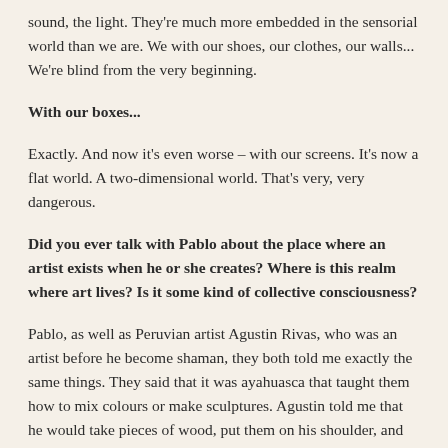sound, the light. They're much more embedded in the sensorial world than we are. We with our shoes, our clothes, our walls... We're blind from the very beginning.
With our boxes...
Exactly. And now it's even worse – with our screens. It's now a flat world. A two-dimensional world. That's very, very dangerous.
Did you ever talk with Pablo about the place where an artist exists when he or she creates? Where is this realm where art lives? Is it some kind of collective consciousness?
Pablo, as well as Peruvian artist Agustin Rivas, who was an artist before he become shaman, they both told me exactly the same things. They said that it was ayahuasca that taught them how to mix colours or make sculptures. Agustin told me that he would take pieces of wood, put them on his shoulder, and the piece of